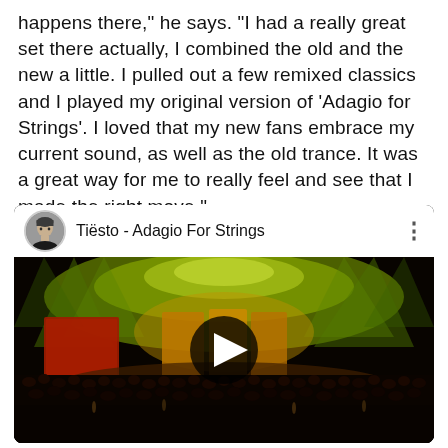happens there," he says. "I had a really great set there actually, I combined the old and the new a little. I pulled out a few remixed classics and I played my original version of 'Adagio for Strings'. I loved that my new fans embrace my current sound, as well as the old trance. It was a great way for me to really feel and see that I made the right move."
[Figure (screenshot): YouTube video embed showing Tiësto - Adagio For Strings. The video thumbnail shows a concert stage with dramatic green and yellow lighting above a large crowd. A black play button circle is centered over the thumbnail. The video header shows a circular avatar of Tiësto on the left, the title 'Tiësto - Adagio For Strings' in the middle, and a three-dot menu icon on the right.]